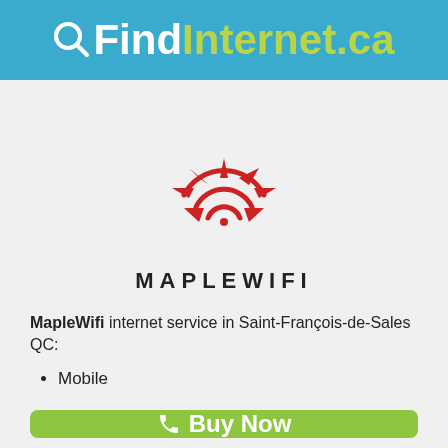QFindInternet.ca
[Figure (logo): MapleWifi logo: red maple leaf shaped WiFi signal arcs with a red dot, above text MAPLEWIFI in bold uppercase letters]
MapleWifi internet service in Saint-François-de-Sales QC:
Mobile
Buy Now